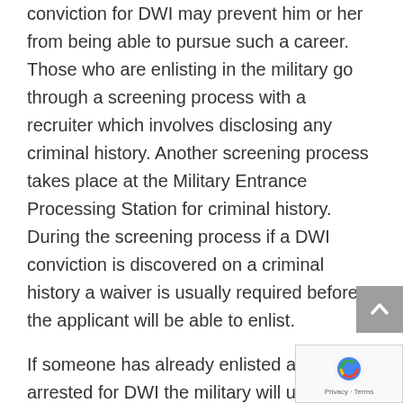conviction for DWI may prevent him or her from being able to pursue such a career. Those who are enlisting in the military go through a screening process with a recruiter which involves disclosing any criminal history. Another screening process takes place at the Military Entrance Processing Station for criminal history. During the screening process if a DWI conviction is discovered on a criminal history a waiver is usually required before the applicant will be able to enlist.
If someone has already enlisted and is arrested for DWI the military will usually require the arrestee to wait for the case to be closed before being able to join. He or she will have serve all the terms of the DWI sentence and all